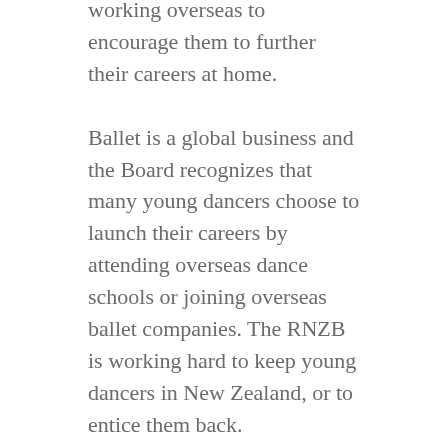working overseas to encourage them to further their careers at home.
Ballet is a global business and the Board recognizes that many young dancers choose to launch their careers by attending overseas dance schools or joining overseas ballet companies. The RNZB is working hard to keep young dancers in New Zealand, or to entice them back.
What this week has shown, though, is that we must work harder.
The Board has today asked former Deputy State Services Commissioner Doug Craig to conduct an independent review of the RNZB's employment processes, in particular its processes for responding to